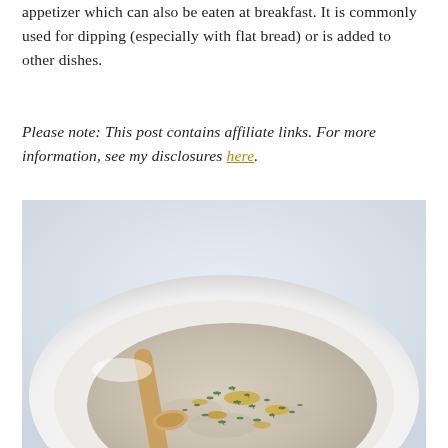appetizer which can also be eaten at breakfast. It is commonly used for dipping (especially with flat bread) or is added to other dishes.
Please note: This post contains affiliate links. For more information, see my disclosures here.
[Figure (photo): Close-up photo of a white bowl containing a creamy dip (likely baba ganoush or hummus) topped with chopped fresh herbs and drizzled with olive oil, with a wooden spoon resting in the bowl, on a light blue-white background.]